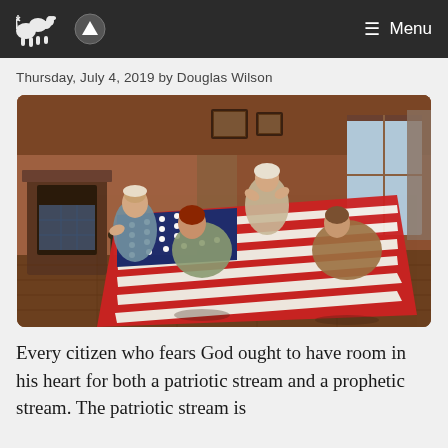Menu
Thursday, July 4, 2019 by Douglas Wilson
[Figure (photo): Historical painting depicting four women in colonial-era dress sewing or examining the early American flag (stars and stripes) in an interior room setting with a fireplace visible on the left and a window on the right.]
Every citizen who fears God ought to have room in his heart for both a patriotic stream and a prophetic stream. The patriotic stream is